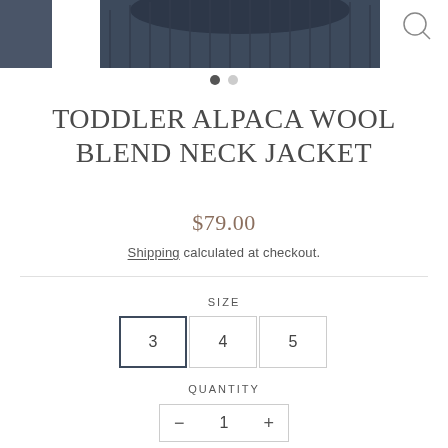[Figure (photo): Partial top view of a dark navy/charcoal toddler jacket, cropped, with a search/zoom icon in upper right corner]
TODDLER ALPACA WOOL BLEND NECK JACKET
$79.00
Shipping calculated at checkout.
SIZE
3  4  5
QUANTITY
- 1 +
Only 2 items in stock!